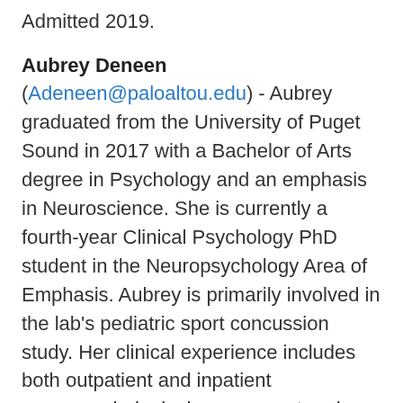Admitted 2019.
Aubrey Deneen (Adeneen@paloaltou.edu) - Aubrey graduated from the University of Puget Sound in 2017 with a Bachelor of Arts degree in Psychology and an emphasis in Neuroscience. She is currently a fourth-year Clinical Psychology PhD student in the Neuropsychology Area of Emphasis. Aubrey is primarily involved in the lab's pediatric sport concussion study. Her clinical experience includes both outpatient and inpatient neuropsychological assessment and cognitive rehabilitation. Currently, she is training at Santa Clara Valley Medical Center Acute Rehab track working with